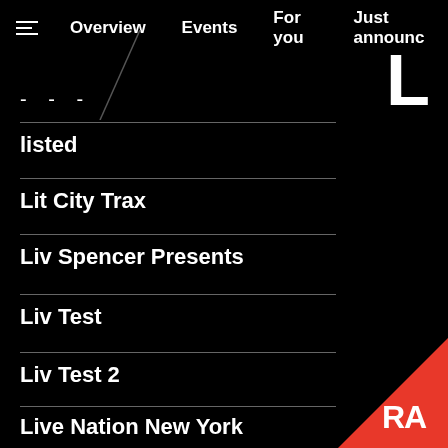Overview  Events  For you  Just announced
- - -
listed
Lit City Trax
Liv Spencer Presents
Liv Test
Liv Test 2
Live Nation New York